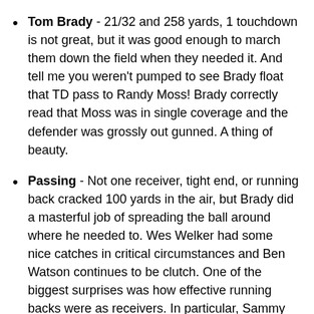Tom Brady - 21/32 and 258 yards, 1 touchdown is not great, but it was good enough to march them down the field when they needed it.  And tell me you weren't pumped to see Brady float that TD pass to Randy Moss!  Brady correctly read that Moss was in single coverage and the defender was grossly out gunned.  A thing of beauty.
Passing - Not one receiver, tight end, or running back cracked 100 yards in the air, but Brady did a masterful job of spreading the ball around where he needed to.  Wes Welker had some nice catches in critical circumstances and Ben Watson continues to be clutch.  One of the biggest surprises was how effective running backs were as receivers.  In particular, Sammy Morris, often split wide, had 5 grabs for 35 yards.